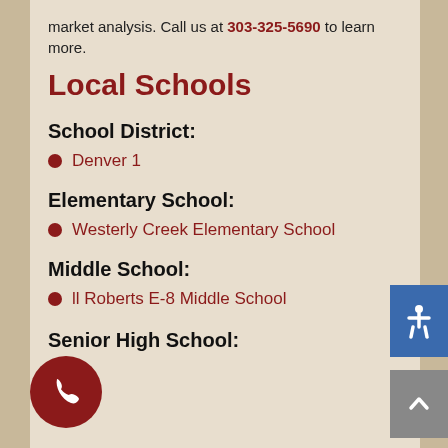market analysis. Call us at 303-325-5690 to learn more.
Local Schools
School District:
Denver 1
Elementary School:
Westerly Creek Elementary School
Middle School:
Bill Roberts E-8 Middle School
Senior High School: